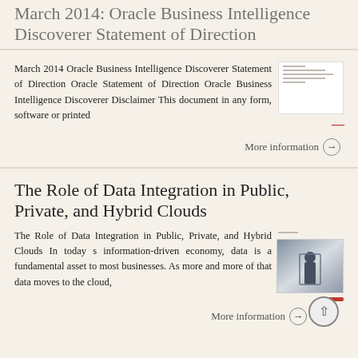March 2014: Oracle Business Intelligence Discoverer Statement of Direction
March 2014 Oracle Business Intelligence Discoverer Statement of Direction Oracle Statement of Direction Oracle Business Intelligence Discoverer Disclaimer This document in any form, software or printed
More information →
The Role of Data Integration in Public, Private, and Hybrid Clouds
The Role of Data Integration in Public, Private, and Hybrid Clouds In today s information-driven economy, data is a fundamental asset to most businesses. As more and more of that data moves to the cloud,
More information →